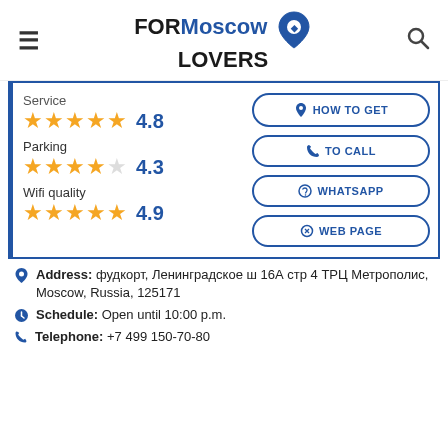FORMoscow LOVERS
Service 4.8
Parking 4.3
Wifi quality 4.9
HOW TO GET
TO CALL
WHATSAPP
WEB PAGE
Address: фудкорт, Ленинградское ш 16А стр 4 ТРЦ Метрополис, Moscow, Russia, 125171
Schedule: Open until 10:00 p.m.
Telephone: +7 499 150-70-80